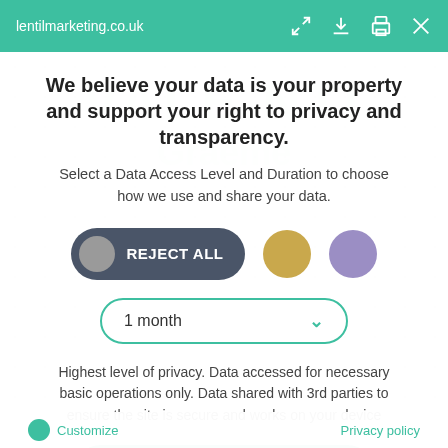lentilmarketing.co.uk
We believe your data is your property and support your right to privacy and transparency.
Select a Data Access Level and Duration to choose how we use and share your data.
[Figure (infographic): Three buttons: a dark grey pill-shaped Reject All button with grey circle, a gold circle button, and a purple circle button. Below is a dropdown reading '1 month' with a teal chevron.]
Highest level of privacy. Data accessed for necessary basic operations only. Data shared with 3rd parties to ensure the site is secure and works on your device
Save my preferences
Customize   Privacy policy